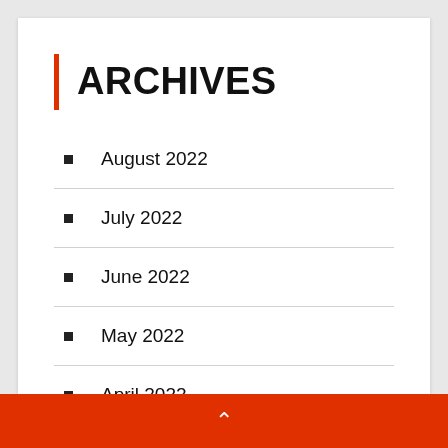ARCHIVES
August 2022
July 2022
June 2022
May 2022
April 2022
March 2022